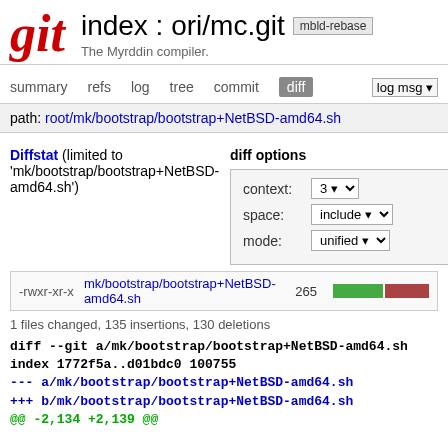git index : ori/mc.git mbld-rebase
The Myrddin compiler.
summary   refs   log   tree   commit   diff   log msg ▾
path: root/mk/bootstrap/bootstrap+NetBSD-amd64.sh
Diffstat (limited to 'mk/bootstrap/bootstrap+NetBSD-amd64.sh')
diff options
context: 3
space: include
mode: unified
| permissions | file | count | bar |
| --- | --- | --- | --- |
| -rwxr-xr-x | mk/bootstrap/bootstrap+NetBSD-amd64.sh | 265 |  |
1 files changed, 135 insertions, 130 deletions
diff --git a/mk/bootstrap/bootstrap+NetBSD-amd64.sh
index 1772f5a..d01bdc0 100755
--- a/mk/bootstrap/bootstrap+NetBSD-amd64.sh
+++ b/mk/bootstrap/bootstrap+NetBSD-amd64.sh
@@ -2,134 +2,139 @@